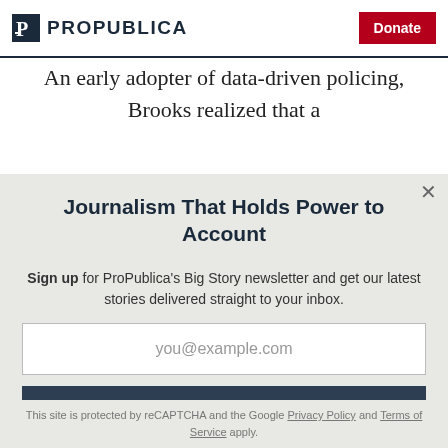ProPublica | Donate
An early adopter of data-driven policing, Brooks realized that a
Journalism That Holds Power to Account
Sign up for ProPublica's Big Story newsletter and get our latest stories delivered straight to your inbox.
you@example.com
Get the Newsletter
No thanks, I'm all set
This site is protected by reCAPTCHA and the Google Privacy Policy and Terms of Service apply.